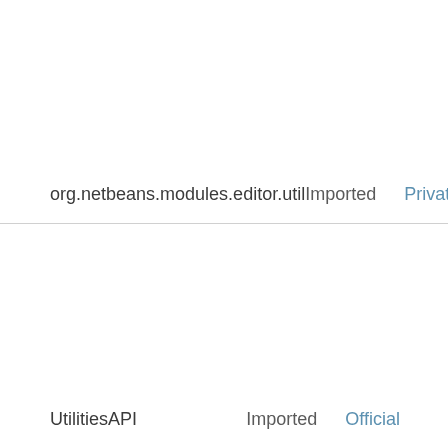| Module | Status | Visibility |
| --- | --- | --- |
| org.netbeans.modules.editor.util | Imported | Private |
| UtilitiesAPI | Imported | Official |